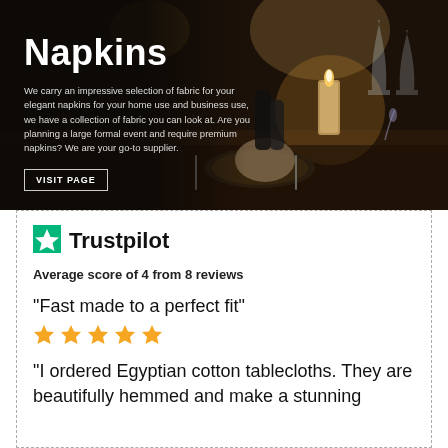[Figure (photo): Dark moody restaurant table scene with candle, wine glasses, pepper mills, and cutlery on a dark wooden table, used as hero background for Napkins product page]
Napkins
We carry an impressive selection of fabric for your elegant napkins for your home use and business use, we have a collection of fabric you can look at. Are you planning a large formal event and require premium napkins? We are your go-to supplier.
VISIT PAGE
[Figure (logo): Trustpilot green star logo]
Trustpilot
Average score of 4 from 8 reviews
"Fast made to a perfect fit"
[Figure (infographic): 5 gold/yellow stars rating]
"I ordered Egyptian cotton tablecloths. They are beautifully hemmed and make a stunning